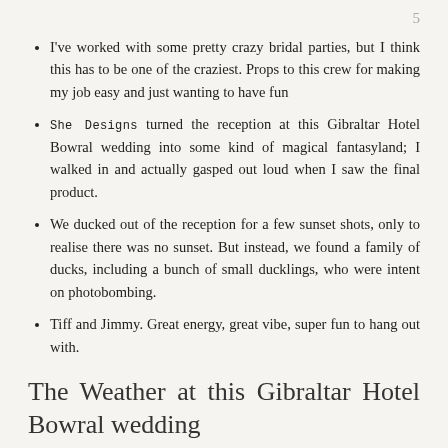5
I've worked with some pretty crazy bridal parties, but I think this has to be one of the craziest. Props to this crew for making my job easy and just wanting to have fun
She Designs turned the reception at this Gibraltar Hotel Bowral wedding into some kind of magical fantasyland; I walked in and actually gasped out loud when I saw the final product.
We ducked out of the reception for a few sunset shots, only to realise there was no sunset. But instead, we found a family of ducks, including a bunch of small ducklings, who were intent on photobombing.
Tiff and Jimmy. Great energy, great vibe, super fun to hang out with.
The Weather at this Gibraltar Hotel Bowral wedding